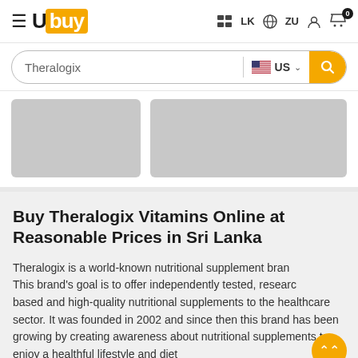Ubuy LK ZU — navigation header with hamburger menu, logo, country selector, account and cart icons
Theralogix — search bar with US flag country selector
[Figure (screenshot): Two grey placeholder image blocks side by side in a carousel area]
Buy Theralogix Vitamins Online at Reasonable Prices in Sri Lanka
Theralogix is a world-known nutritional supplement brand. This brand's goal is to offer independently tested, research-based and high-quality nutritional supplements to the healthcare sector. It was founded in 2002 and since then this brand has been growing by creating awareness about nutritional supplements to enjoy a healthful lifestyle and diet